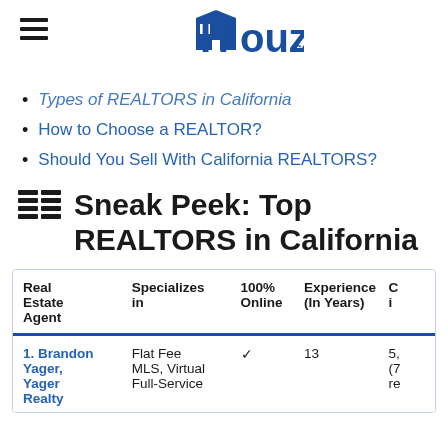Houzeo.com
Types of REALTORS in California
How to Choose a REALTOR?
Should You Sell With California REALTORS?
Sneak Peek: Top REALTORS in California
| Real Estate Agent | Specializes in | 100% Online | Experience (In Years) | C |
| --- | --- | --- | --- | --- |
| 1. Brandon Yager, Yager Realty | Flat Fee MLS, Virtual Full-Service | ✓ | 13 | 5, (7 re |